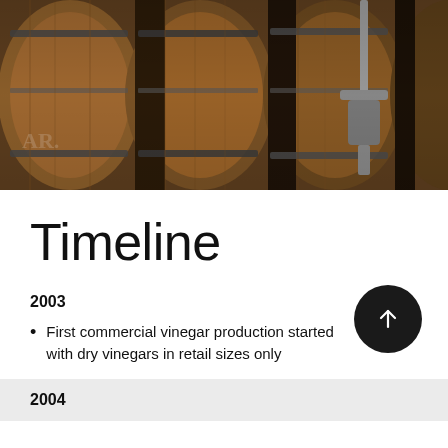[Figure (photo): Close-up photo of wooden wine or vinegar barrels stacked in a cellar, with metal bands and a metal tool visible]
Timeline
2003
First commercial vinegar production started with dry vinegars in retail sizes only
2004